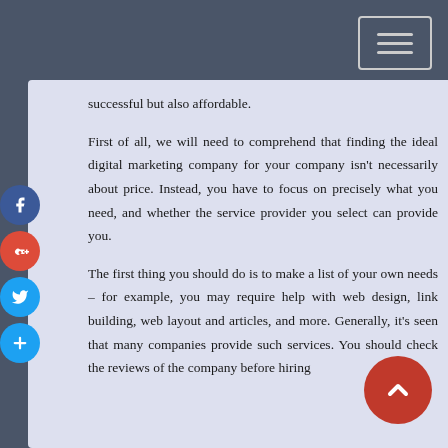successful but also affordable.
First of all, we will need to comprehend that finding the ideal digital marketing company for your company isn't necessarily about price. Instead, you have to focus on precisely what you need, and whether the service provider you select can provide you.
The first thing you should do is to make a list of your own needs – for example, you may require help with web design, link building, web layout and articles, and more. Generally, it's seen that many companies provide such services. You should check the reviews of the company before hiring